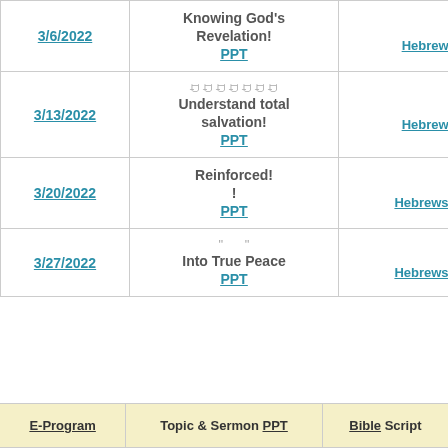| E-Program | Topic & Sermon PPT | Bible Script |
| --- | --- | --- |
| 3/6/2022 | Knowing God's Revelation!
PPT | 1:
Hebrews 1: |
| 3/13/2022 | [unicode] Understand total salvation!
PPT | 2:
Hebrews 2: |
| 3/20/2022 | Reinforced!
!
PPT | 3:1
Hebrews 3:1 |
| 3/27/2022 | " "
Into True Peace
PPT | 4:9
Hebrews 4:9 |
| E-Program | Topic & Sermon PPT | Bible Script |
| --- | --- | --- |